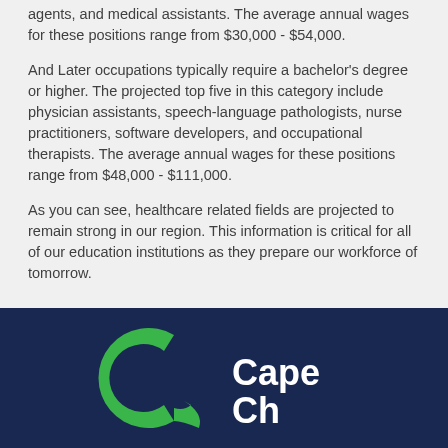agents, and medical assistants. The average annual wages for these positions range from $30,000 - $54,000.
And Later occupations typically require a bachelor's degree or higher. The projected top five in this category include physician assistants, speech-language pathologists, nurse practitioners, software developers, and occupational therapists. The average annual wages for these positions range from $48,000 - $111,000.
As you can see, healthcare related fields are projected to remain strong in our region. This information is critical for all of our education institutions as they prepare our workforce of tomorrow.
[Figure (logo): Cape Chamber logo — green C-shaped arc with a smaller green swoosh, followed by white bold text 'Cape' and below it partial text 'Ch...' on dark navy background]